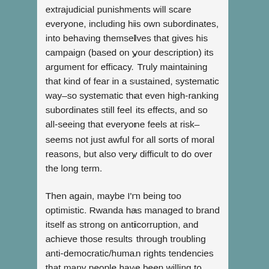extrajudicial punishments will scare everyone, including his own subordinates, into behaving themselves that gives his campaign (based on your description) its argument for efficacy. Truly maintaining that kind of fear in a sustained, systematic way–so systematic that even high-ranking subordinates still feel its effects, and so all-seeing that everyone feels at risk–seems not just awful for all sorts of moral reasons, but also very difficult to do over the long term.
Then again, maybe I'm being too optimistic. Rwanda has managed to brand itself as strong on anticorruption, and achieve those results through troubling anti-democratic/human rights tendencies that many people have been willing to accept for economic trade-offs (and perhaps more stability?), with those political restraints making resisting the restraints themselves difficult. I guess that brings us back to your third point: effectively decreasing corruption seems likely to require rule of law (in